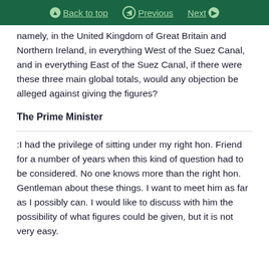Back to top | Previous | Next
namely, in the United Kingdom of Great Britain and Northern Ireland, in everything West of the Suez Canal, and in everything East of the Suez Canal, if there were these three main global totals, would any objection be alleged against giving the figures?
The Prime Minister
:I had the privilege of sitting under my right hon. Friend for a number of years when this kind of question had to be considered. No one knows more than the right hon. Gentleman about these things. I want to meet him as far as I possibly can. I would like to discuss with him the possibility of what figures could be given, but it is not very easy.